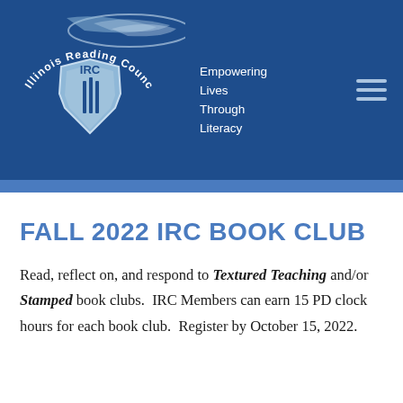[Figure (logo): Illinois Reading Council logo with IRC shield and state map shape, on dark blue background banner. Text: 'Illinois Reading Council' curved around top, 'IRC' inside shield, 'Empowering Lives Through Literacy' tagline. Hamburger menu icon on right.]
FALL 2022 IRC BOOK CLUB
Read, reflect on, and respond to Textured Teaching and/or Stamped book clubs.  IRC Members can earn 15 PD clock hours for each book club.  Register by October 15, 2022.